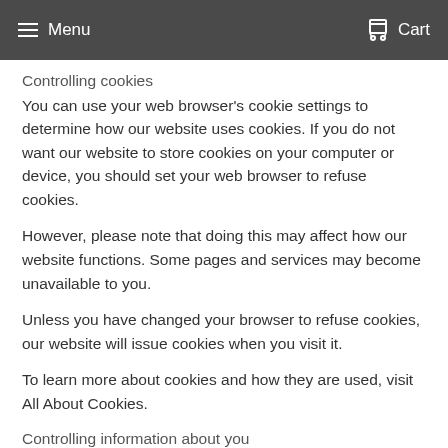Menu   Cart
Controlling cookies
You can use your web browser's cookie settings to determine how our website uses cookies. If you do not want our website to store cookies on your computer or device, you should set your web browser to refuse cookies.
However, please note that doing this may affect how our website functions. Some pages and services may become unavailable to you.
Unless you have changed your browser to refuse cookies, our website will issue cookies when you visit it.
To learn more about cookies and how they are used, visit All About Cookies.
Controlling information about you
When you fill in a form or provide your details on our website, you will see one or more tick boxes allowing you to:
Opt-in to receive marketing communications from us by